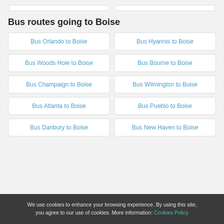Bus routes going to Boise
Bus Orlando to Boise
Bus Hyannis to Boise
Bus Woods Hole to Boise
Bus Bourne to Boise
Bus Champaign to Boise
Bus Wilmington to Boise
Bus Atlanta to Boise
Bus Pueblo to Boise
Bus Danbury to Boise
Bus New Haven to Boise
We use cookies to enhance your browsing experience. By using this site, you agree to our use of cookies. More information: Cookies Policy